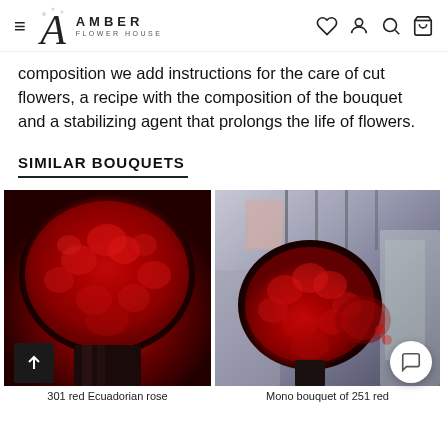Amber Flower House - navigation header with hamburger menu, logo, and icons (heart, account, search, bag)
composition we add instructions for the care of cut flowers, a recipe with the composition of the bouquet and a stabilizing agent that prolongs the life of flowers.
SIMILAR BOUQUETS
[Figure (photo): Large bouquet of 301 red Ecuadorian roses, very full and round, held by a person in front of a mirror or window with warm lighting]
[Figure (photo): Mono bouquet of 251 red roses photographed in a flower shop interior, person holding it with shelves and greenery visible in background]